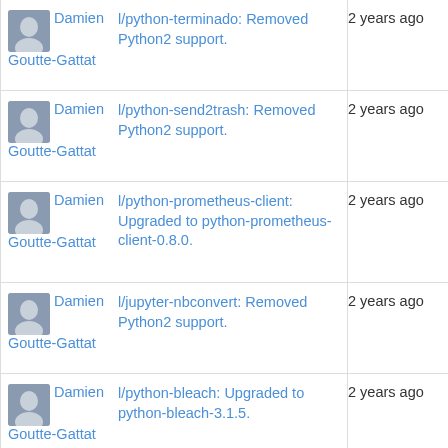Damien Goutte-Gattat | l/python-terminado: Removed Python2 support. | 2 years ago
Damien Goutte-Gattat | l/python-send2trash: Removed Python2 support. | 2 years ago
Damien Goutte-Gattat | l/python-prometheus-client: Upgraded to python-prometheus-client-0.8.0. | 2 years ago
Damien Goutte-Gattat | l/jupyter-nbconvert: Removed Python2 support. | 2 years ago
Damien Goutte-Gattat | l/python-bleach: Upgraded to python-bleach-3.1.5. | 2 years ago
Damien Goutte-Gattat | l/python-webencodings: Removed Python2... | 2 years ago